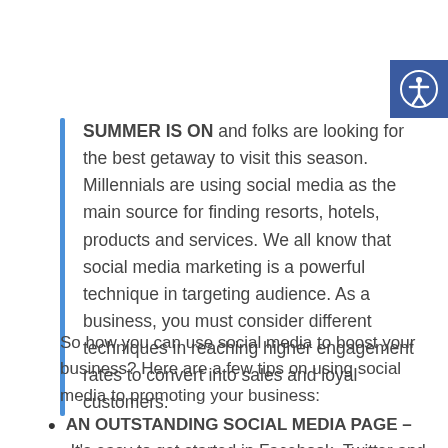[Figure (other): Accessibility icon button — blue square with a white person icon (circle head and spread arms/legs)]
SUMMER IS ON and folks are looking for the best getaway to visit this season. Millennials are using social media as the main source for finding resorts, hotels, products and services. We all know that social media marketing is a powerful technique in targeting audience. As a business, you must consider different techniques in reaching higher engagement rates to convert into sales and loyal customers.
So how you can use social media to boost your business? Here are a few tips on using social media to promoting your business:
AN OUTSTANDING SOCIAL MEDIA PAGE – It's easy to get started in Facebook, Twitter and